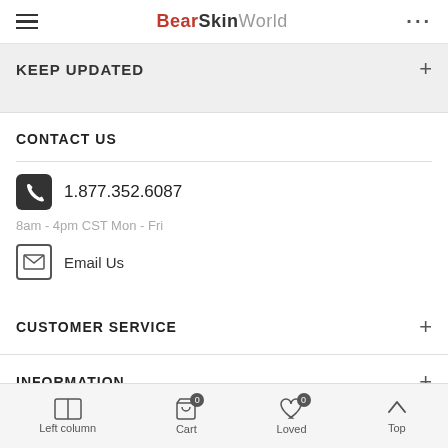BearSkinWorld
KEEP UPDATED
CONTACT US
1.877.352.6087
8am - 4pm CST Mon - Fri
Email Us
CUSTOMER SERVICE
INFORMATION
Left column  Cart  Loved  Top